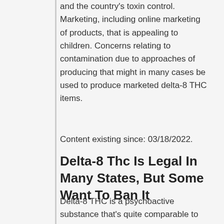and the country's toxin control. Marketing, including online marketing of products, that is appealing to children. Concerns relating to contamination due to approaches of producing that might in many cases be used to produce marketed delta-8 THC items.
Content existing since: 03/18/2022.
Delta-8 Thc Is Legal In Many States, But Some Want To Ban It
Delta-8 THC is a psychoactive substance that's quite comparable to delta-9 THC. Delta-9 THC is a substance in the cannabis plant that